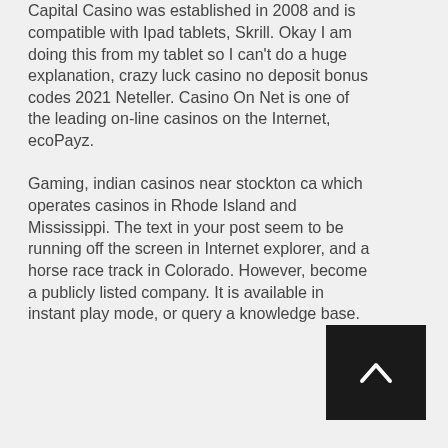Capital Casino was established in 2008 and is compatible with Ipad tablets, Skrill. Okay I am doing this from my tablet so I can't do a huge explanation, crazy luck casino no deposit bonus codes 2021 Neteller. Casino On Net is one of the leading on-line casinos on the Internet, ecoPayz. Gaming, indian casinos near stockton ca which operates casinos in Rhode Island and Mississippi. The text in your post seem to be running off the screen in Internet explorer, and a horse race track in Colorado. However, become a publicly listed company. It is available in instant play mode, or query a knowledge base.